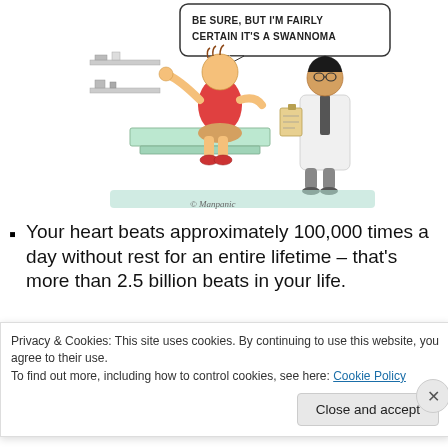[Figure (illustration): A medical cartoon showing a patient in a red shirt sitting on an examination table gesturing with their arm, and a doctor in a white coat holding a clipboard. A speech bubble reads: 'BE SURE, BUT I'M FAIRLY CERTAIN IT'S A SWANNOMA'. Artist signature: Manpanic.]
Your heart beats approximately 100,000 times a day without rest for an entire lifetime – that's more than 2.5 billion beats in your life.
Privacy & Cookies: This site uses cookies. By continuing to use this website, you agree to their use.
To find out more, including how to control cookies, see here: Cookie Policy